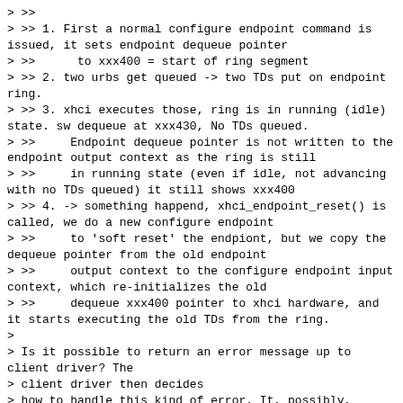> >>
> >> 1. First a normal configure endpoint command is issued, it sets endpoint dequeue pointer
> >>      to xxx400 = start of ring segment
> >> 2. two urbs get queued -> two TDs put on endpoint ring.
> >> 3. xhci executes those, ring is in running (idle) state. sw dequeue at xxx430, No TDs queued.
> >>     Endpoint dequeue pointer is not written to the endpoint output context as the ring is still
> >>     in running state (even if idle, not advancing with no TDs queued) it still shows xxx400
> >> 4. -> something happend, xhci_endpoint_reset() is called, we do a new configure endpoint
> >>     to 'soft reset' the endpiont, but we copy the dequeue pointer from the old endpoint
> >>     output context to the configure endpoint input context, which re-initializes the old
> >>     dequeue xxx400 pointer to xhci hardware, and it starts executing the old TDs from the ring.
>
> Is it possible to return an error message up to client driver? The
> client driver then decides
> how to handle this kind of error. It, possibly, unlink all ongoing
> transfers and ask host driver
> to soft reset this endpoint. When xhci_endpoint_reset is called, there
> should be no ongoing
> transfers